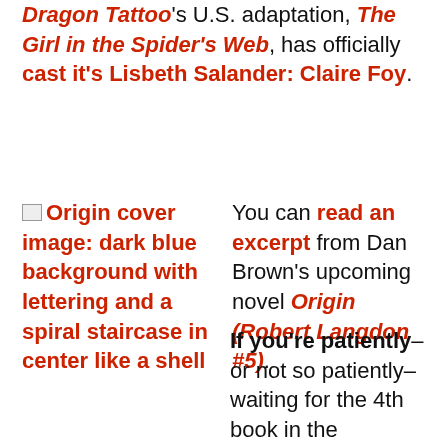Dragon Tattoo's U.S. adaptation, The Girl in the Spider's Web, has officially cast it's Lisbeth Salander: Claire Foy.
[Figure (illustration): Origin cover image: dark blue background with lettering and a spiral staircase in center like a shell]
You can read an excerpt from Dan Brown's upcoming novel Origin (Robert Langdon #5).
If you're patiently–or not so patiently–waiting for the 4th book in the Cormoran Strike series J.K. Rowling is currently